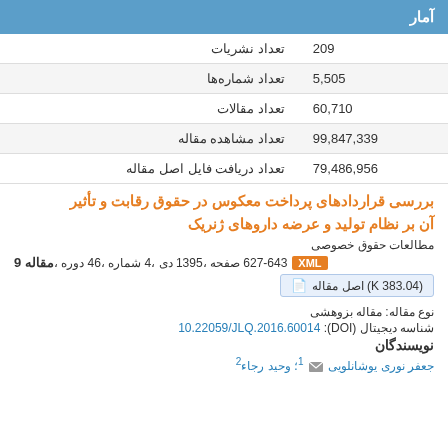آمار
|  |  |
| --- | --- |
| تعداد نشریات | 209 |
| تعداد شماره‌ها | 5,505 |
| تعداد مقالات | 60,710 |
| تعداد مشاهده مقاله | 99,847,339 |
| تعداد دریافت فایل اصل مقاله | 79,486,956 |
بررسی قراردادهای پرداخت معکوس در حقوق رقابت و تأثیر آن بر نظام تولید و عرضه داروهای ژنریک
مطالعات حقوق خصوصی
مقاله 9، دوره 46، شماره 4، دی 1395، صفحه 643-627 XML
اصل مقاله (383.04 K)
نوع مقاله: مقاله بزوهشی
شناسه دیجیتال (DOI): 10.22059/JLQ.2016.60014
نویسندگان
جعفر نوری یوشانلویی 1؛ وحید رجاء2